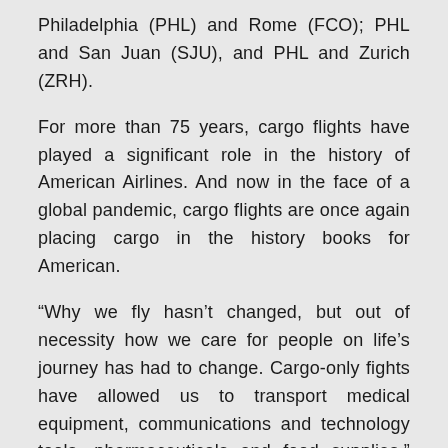Philadelphia (PHL) and Rome (FCO); PHL and San Juan (SJU), and PHL and Zurich (ZRH).
For more than 75 years, cargo flights have played a significant role in the history of American Airlines. And now in the face of a global pandemic, cargo flights are once again placing cargo in the history books for American.
“Why we fly hasn’t changed, but out of necessity how we care for people on life’s journey has had to change. Cargo-only fights have allowed us to transport medical equipment, communications and technology tools, pharmaceuticals and food supplies,” said Rick Elieson, President of Cargo and Vice President